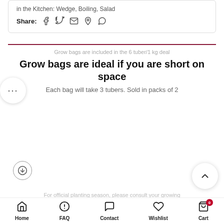in the Kitchen: Wedge, Boiling, Salad
Share:
Grow bags are included in the 6 tuber/1 kg deal
Grow bags are ideal if you are short on space
Each bag will take 3 tubers.  Sold in packs of 2
For official planting season, please consult your growing
Home  FAQ  Contact  Wishlist  Cart